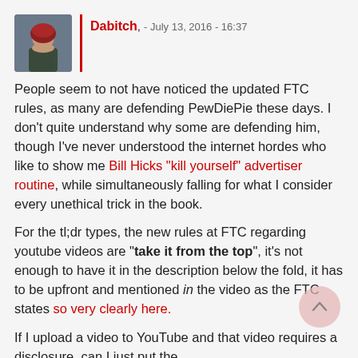[Figure (photo): Avatar/profile photo of user Dabitch, showing a woman with red hair in a car]
Dabitch, - July 13, 2016 - 16:37
People seem to not have noticed the updated FTC rules, as many are defending PewDiePie these days. I don't quite understand why some are defending him, though I've never understood the internet hordes who like to show me Bill Hicks "kill yourself" advertiser routine, while simultaneously falling for what I consider every unethical trick in the book.
For the tl;dr types, the new rules at FTC regarding youtube videos are "take it from the top", it's not enough to have it in the description below the fold, it has to be upfront and mentioned in the video as the FTC states so very clearly here.
If I upload a video to YouTube and that video requires a disclosure, can I just put the